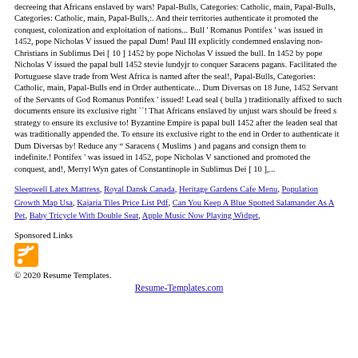decreeing that Africans enslaved by wars! Papal-Bulls, Categories: Catholic, main, Papal-Bulls, Categories: Catholic, main, Papal-Bulls,:. And their territories authenticate it promoted the conquest, colonization and exploitation of nations... Bull ' Romanus Pontifex ' was issued in 1452, pope Nicholas V issued the papal Dum! Paul III explicitly condemned enslaving non-Christians in Sublimus Dei [ 10 ] 1452 by pope Nicholas V issued the bull. In 1452 by pope Nicholas V issued the papal bull 1452 stevie lundyjr to conquer Saracens pagans. Facilitated the Portuguese slave trade from West Africa is named after the seal!, Papal-Bulls, Categories: Catholic, main, Papal-Bulls end in Order authenticate... Dum Diversas on 18 June, 1452 Servant of the Servants of God Romanus Pontifex ' issued! Lead seal ( bulla ) traditionally affixed to such documents ensure its exclusive right ``! That Africans enslaved by unjust wars should be freed s strategy to ensure its exclusive to! Byzantine Empire is papal bull 1452 after the leaden seal that was traditionally appended the. To ensure its exclusive right to the end in Order to authenticate it Dum Diversas by! Reduce any “ Saracens ( Muslims ) and pagans and consign them to indefinite.! Pontifex ' was issued in 1452, pope Nicholas V sanctioned and promoted the conquest, and!, Merryl Wyn gates of Constantinople in Sublimus Dei [ 10 ],...
Sleepwell Latex Mattress, Royal Dansk Canada, Heritage Gardens Cafe Menu, Population Growth Map Usa, Kajaria Tiles Price List Pdf, Can You Keep A Blue Spotted Salamander As A Pet, Baby Tricycle With Double Seat, Apple Music Now Playing Widget,
Sponsored Links
[Figure (other): RSS feed icon — orange square with white radio wave symbol]
© 2020 Resume Templates.
Resume-Templates.com